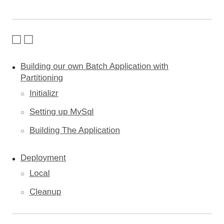□□
Building our own Batch Application with Partitioning
Initializr
Setting up MySql
Building The Application
Deployment
Local
Cleanup